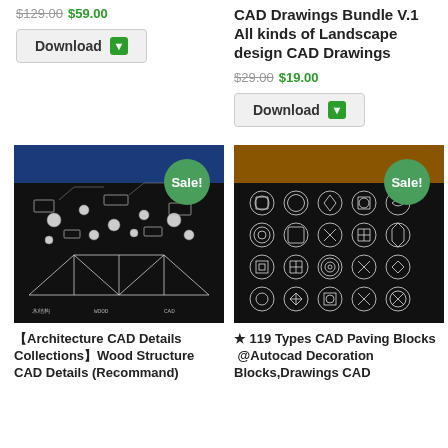$129.00 $59.00
Download
CAD Drawings Bundle V.1 All kinds of Landscape design CAD Drawings
$29.00 $19.00
Download
[Figure (photo): Wood Structure CAD Details product image with Sale badge]
[Figure (photo): 119 Types Paving CAD product image with Sale badge]
【Architecture CAD Details Collections】Wood Structure CAD Details (Recommand)
★ 119 Types CAD Paving Blocks @Autocad Decoration Blocks,Drawings CAD